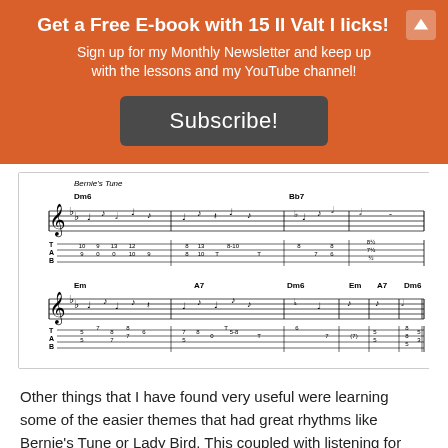Get a Free E-book with 15 II Valt I licks!
Sign up for my Monthly Newsletter and keep up with the lessons and my YouTube channel!
Subscribe!
[Figure (illustration): Sheet music for Bernie's Tune showing two lines of musical notation with guitar tablature. Chord symbols include Dm6, Bb7, Em, A7, Dm6, Em, A7, Dm6.]
Other things that I have found very useful were learning some of the easier themes that had great rhythms like Bernie's Tune or Lady Bird. This coupled with listening for rhythm and maybe even transcribing some solos, is really what you want to work on.